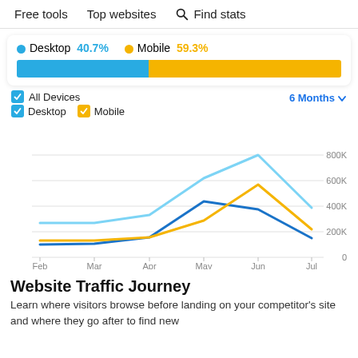Free tools   Top websites   🔍 Find stats
[Figure (stacked-bar-chart): Desktop vs Mobile share]
[Figure (line-chart): All Devices / Desktop / Mobile — 6 Months]
Website Traffic Journey
Learn where visitors browse before landing on your competitor's site and where they go after to find new